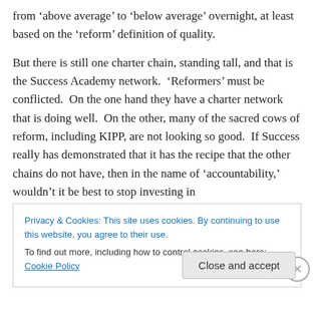from 'above average' to 'below average' overnight, at least based on the 'reform' definition of quality.
But there is still one charter chain, standing tall, and that is the Success Academy network.  'Reformers' must be conflicted.  On the one hand they have a charter network that is doing well.  On the other, many of the sacred cows of reform, including KIPP, are not looking so good.  If Success really has demonstrated that it has the recipe that the other chains do not have, then in the name of 'accountability,' wouldn't it be best to stop investing in
Privacy & Cookies: This site uses cookies. By continuing to use this website, you agree to their use.
To find out more, including how to control cookies, see here: Cookie Policy